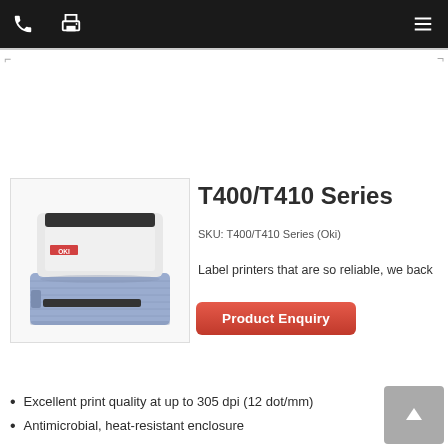Navigation bar with phone, print, and menu icons
[Figure (photo): OKI T400/T410 label printer — white top unit with black paper exit slot, lavender/blue base unit, sitting at an angle on white background]
T400/T410 Series
SKU: T400/T410 Series (Oki)
Label printers that are so reliable, we back
Product Enquiry
Excellent print quality at up to 305 dpi (12 dot/mm)
Antimicrobial, heat-resistant enclosure